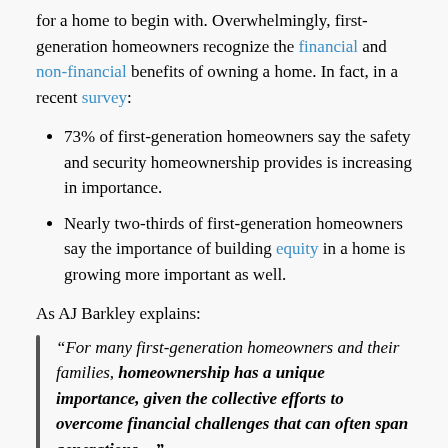for a home to begin with. Overwhelmingly, first-generation homeowners recognize the financial and non-financial benefits of owning a home. In fact, in a recent survey:
73% of first-generation homeowners say the safety and security homeownership provides is increasing in importance.
Nearly two-thirds of first-generation homeowners say the importance of building equity in a home is growing more important as well.
As AJ Barkley explains:
“For many first-generation homeowners and their families, homeownership has a unique importance, given the collective efforts to overcome financial challenges that can often span generations…”
Bottom Line